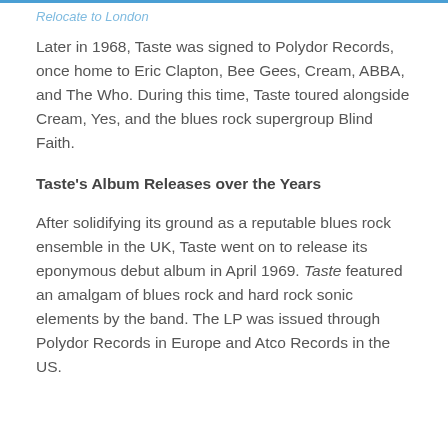Relocate to London
Later in 1968, Taste was signed to Polydor Records, once home to Eric Clapton, Bee Gees, Cream, ABBA, and The Who. During this time, Taste toured alongside Cream, Yes, and the blues rock supergroup Blind Faith.
Taste's Album Releases over the Years
After solidifying its ground as a reputable blues rock ensemble in the UK, Taste went on to release its eponymous debut album in April 1969. Taste featured an amalgam of blues rock and hard rock sonic elements by the band. The LP was issued through Polydor Records in Europe and Atco Records in the US.